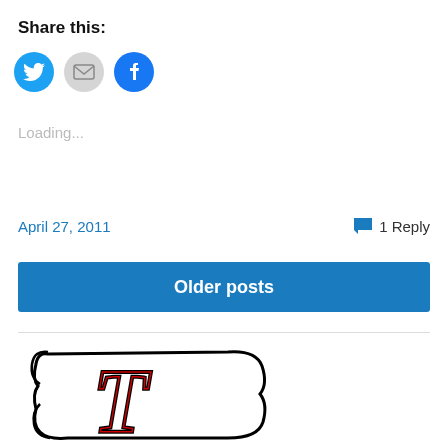Share this:
[Figure (infographic): Three circular social share buttons: Twitter (blue with bird icon), Email (gray with envelope icon), Facebook (blue with f icon)]
Loading...
April 27, 2011
1 Reply
Older posts
[Figure (logo): Partial logo showing a scroll with a decorative Gothic letter T in black and red outline on white background]